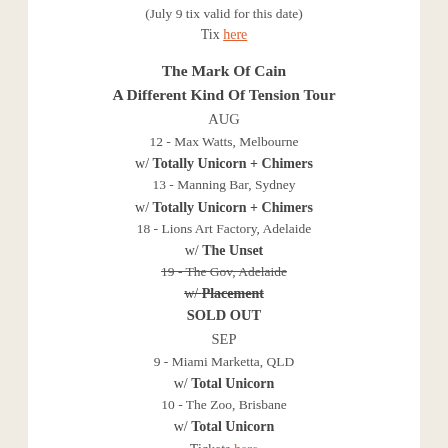(July 9 tix valid for this date)
Tix here
The Mark Of Cain
A Different Kind Of Tension Tour
AUG
12 - Max Watts, Melbourne
w/ Totally Unicorn + Chimers
13 - Manning Bar, Sydney
w/ Totally Unicorn + Chimers
18 - Lions Art Factory, Adelaide
w/ The Unset
19 - The Gov, Adelaide (strikethrough)
w/ Placement (strikethrough)
SOLD OUT
SEP
9 - Miami Marketta, QLD
w/ Total Unicorn
10 - The Zoo, Brisbane
w/ Total Unicorn
Tickets here
The Prehistorics